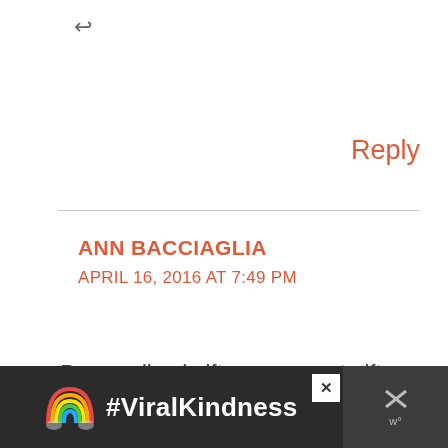↩
Reply
ANN BACCIAGLIA
APRIL 16, 2016 AT 7:49 PM
Personalized gifts are a great gift idea. I love the photo blanket. My parents would love it.
[Figure (screenshot): Advertisement banner at bottom showing a rainbow illustration and the text #ViralKindness on a dark background, with a close button and a share/dismiss button on the right side.]